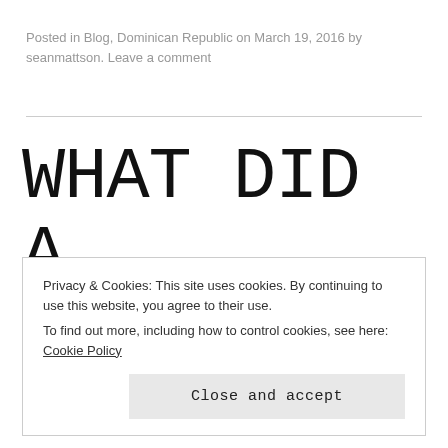Posted in Blog, Dominican Republic on March 19, 2016 by seanmattson. Leave a comment
WHAT DID A HEALTHY CARIBBEAN
Privacy & Cookies: This site uses cookies. By continuing to use this website, you agree to their use.
To find out more, including how to control cookies, see here: Cookie Policy
Close and accept